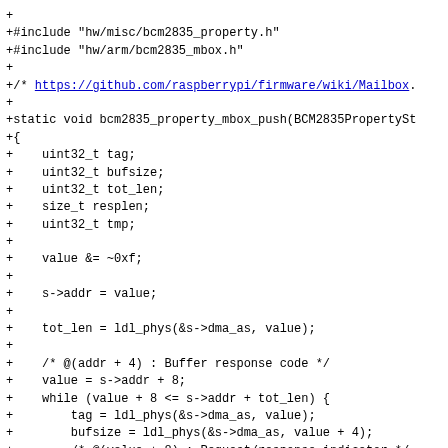+
+#include "hw/misc/bcm2835_property.h"
+#include "hw/arm/bcm2835_mbox.h"
+
+/* https://github.com/raspberrypi/firmware/wiki/Mailbox...
+
+static void bcm2835_property_mbox_push(BCM2835PropertySt
+{
+    uint32_t tag;
+    uint32_t bufsize;
+    uint32_t tot_len;
+    size_t resplen;
+    uint32_t tmp;
+
+    value &= ~0xf;
+
+    s->addr = value;
+
+    tot_len = ldl_phys(&s->dma_as, value);
+
+    /* @(addr + 4) : Buffer response code */
+    value = s->addr + 8;
+    while (value + 8 <= s->addr + tot_len) {
+        tag = ldl_phys(&s->dma_as, value);
+        bufsize = ldl_phys(&s->dma_as, value + 4);
+        /* @(value + 8) : Request/response indicator */
+        resplen = 0;
+        switch (tag) {
+        case 0x00000000: /* End tag */
+            break;